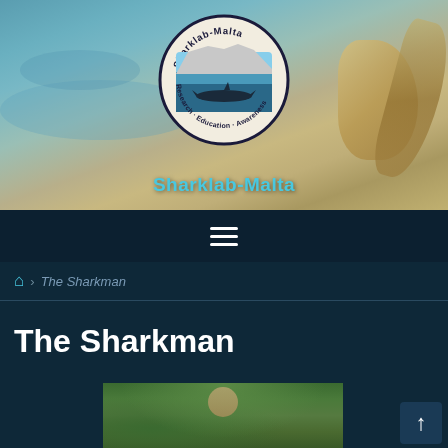[Figure (photo): Website header with underwater/sandy beach background photo showing shells and sea floor. Sharklab-Malta circular logo overlaid in center with text 'Sharklab-Malta Research · Education · Awareness' and ocean/shark imagery inside.]
Sharklab-Malta
[Figure (screenshot): Navigation bar with hamburger menu icon (three horizontal lines)]
The Sharkman
The Sharkman
[Figure (photo): Partial photo of a person outdoors with green foliage background, cropped at bottom of page]